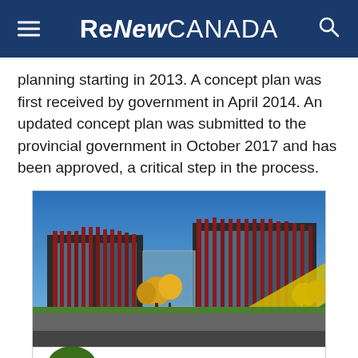ReNew CANADA
planning starting in 2013. A concept plan was first received by government in April 2014. An updated concept plan was submitted to the provincial government in October 2017 and has been approved, a critical step in the process.
[Figure (photo): Photograph of a modern building with red vertical fin cladding and glass curtain walls, yellow autumn trees, blue sky, with PCL Construction advertisement banner below showing 'TOGETHER WE BUILD SUCCESS']